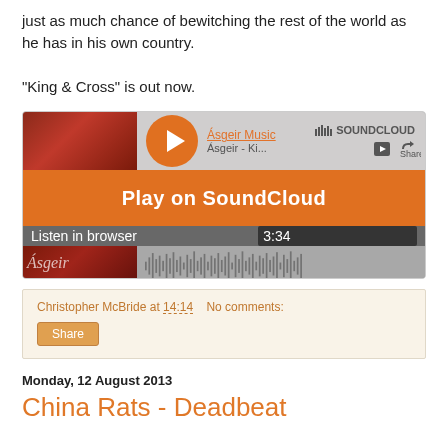just as much chance of bewitching the rest of the world as he has in his own country.
"King & Cross" is out now.
[Figure (screenshot): SoundCloud embedded player for Ásgeir - King & Cross. Shows album art, orange play button overlay with 'Play on SoundCloud', 'Listen in browser' bar, waveform, duration 3:34, and 1.7M plays.]
Christopher McBride at 14:14   No comments:
Share
Monday, 12 August 2013
China Rats - Deadbeat